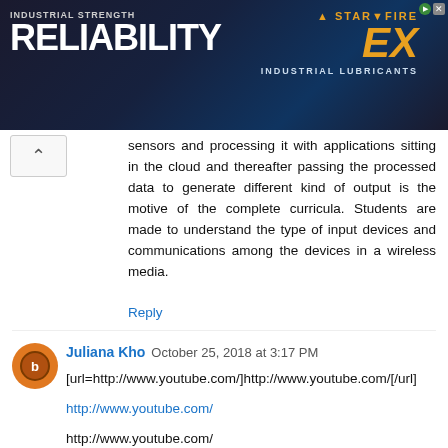[Figure (illustration): Advertisement banner for Starfire EX Industrial Lubricants showing 'INDUSTRIAL STRENGTH RELIABILITY' text on dark background with orange/gold logo]
sensors and processing it with applications sitting in the cloud and thereafter passing the processed data to generate different kind of output is the motive of the complete curricula. Students are made to understand the type of input devices and communications among the devices in a wireless media.
Reply
Juliana Kho  October 25, 2018 at 3:17 PM
[url=http://www.youtube.com/]http://www.youtube.com/[/url]
http://www.youtube.com/
http://www.youtube.com/
Reply